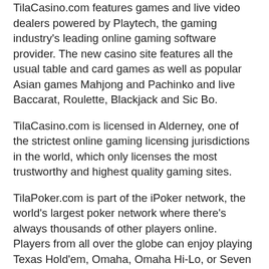TilaCasino.com features games and live video dealers powered by Playtech, the gaming industry's leading online gaming software provider. The new casino site features all the usual table and card games as well as popular Asian games Mahjong and Pachinko and live Baccarat, Roulette, Blackjack and Sic Bo.
TilaCasino.com is licensed in Alderney, one of the strictest online gaming licensing jurisdictions in the world, which only licenses the most trustworthy and highest quality gaming sites.
TilaPoker.com is part of the iPoker network, the world's largest poker network where there's always thousands of other players online. Players from all over the globe can enjoy playing Texas Hold'em, Omaha, Omaha Hi-Lo, or Seven Card Stud and choose from all types of cash prize tournaments including free rolls, qualifiers for the World Series of Poker, the World Poker Tour and the Aussie Millions.
Tila has appeared on sexy magazine covers like Maxim, made headlines in The Sun, and been featured in Time Magazine's "Person of the Year" issue. With her groundbreaking...